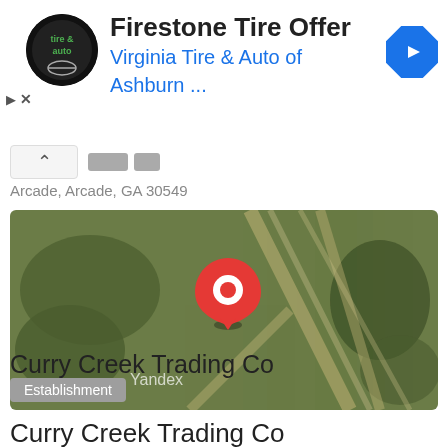[Figure (screenshot): Ad banner showing Firestone Tire Offer with Virginia Tire & Auto logo and navigation arrow icon]
Firestone Tire Offer
Virginia Tire & Auto of Ashburn ...
Arcade, Arcade, GA 30549
[Figure (map): Satellite map view showing location pin (Yandex map) for Curry Creek Trading Co in Arcade, GA area]
Curry Creek Trading Co
Establishment